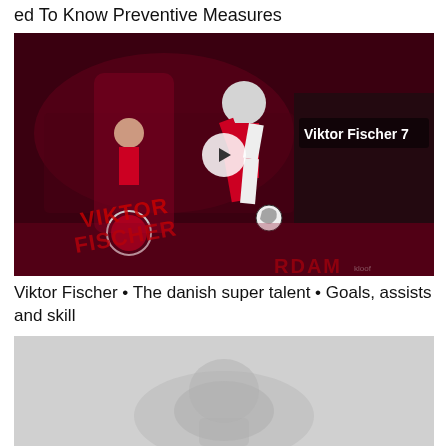ed To Know Preventive Measures
[Figure (screenshot): Video thumbnail for Viktor Fischer Ajax football highlights, red-toned graphic with player kicking ball, text 'Viktor Fischer 7', Ajax logo, 'AMSTERDAM' text, play button overlay]
Viktor Fischer • The danish super talent • Goals, assists and skill
[Figure (photo): Partially visible second video thumbnail showing a grey/silver background with faint shape, bottom of page]